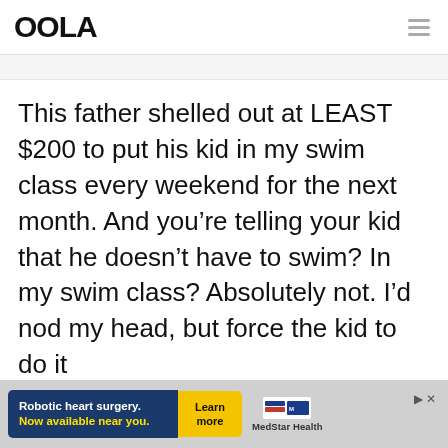OOLA
This father shelled out at LEAST $200 to put his kid in my swim class every weekend for the next month. And you're telling your kid that he doesn't have to swim? In my swim class? Absolutely not. I'd nod my head, but force the kid to do it
[Figure (other): Advertisement banner: Robotic heart surgery. Now available near you. Learn more. MedStar Health logo.]